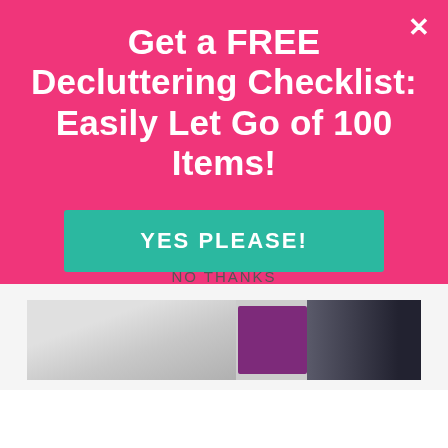Get a FREE Decluttering Checklist: Easily Let Go of 100 Items!
YES PLEASE!
NO THANKS
[Figure (photo): Folded clothing items: gray fabric on the left, purple knit in the middle, dark fabric on the right]